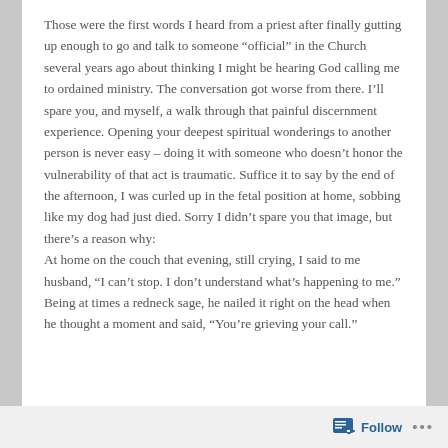Those were the first words I heard from a priest after finally gutting up enough to go and talk to someone “official” in the Church several years ago about thinking I might be hearing God calling me to ordained ministry. The conversation got worse from there. I’ll spare you, and myself, a walk through that painful discernment experience. Opening your deepest spiritual wonderings to another person is never easy – doing it with someone who doesn’t honor the vulnerability of that act is traumatic. Suffice it to say by the end of the afternoon, I was curled up in the fetal position at home, sobbing like my dog had just died. Sorry I didn’t spare you that image, but there’s a reason why:
At home on the couch that evening, still crying, I said to me husband, “I can’t stop. I don’t understand what’s happening to me.”
Being at times a redneck sage, he nailed it right on the head when he thought a moment and said, “You’re grieving your call.”
Follow